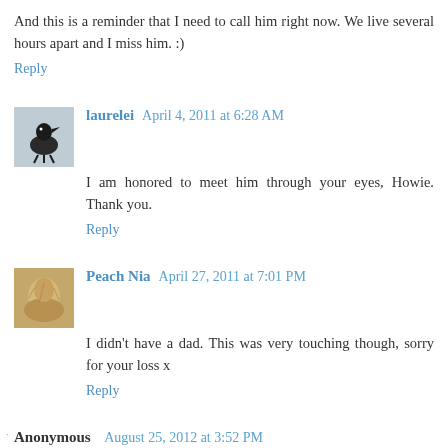And this is a reminder that I need to call him right now. We live several hours apart and I miss him. :)
Reply
laurelei April 4, 2011 at 6:28 AM
I am honored to meet him through your eyes, Howie. Thank you.
Reply
Peach Nia April 27, 2011 at 7:01 PM
I didn't have a dad. This was very touching though, sorry for your loss x
Reply
Anonymous August 25, 2012 at 3:52 PM
Such a beautiful and touching story. Thank you so much for